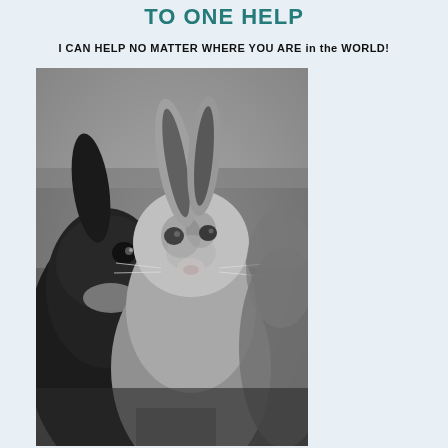TO ONE HELP
I CAN HELP NO MATTER WHERE YOU ARE in the WORLD!
[Figure (photo): Black and white close-up photograph of two rabbits facing the camera, one dark-colored on the left and one lighter speckled rabbit in the center foreground, with a third rabbit partially visible on the right.]